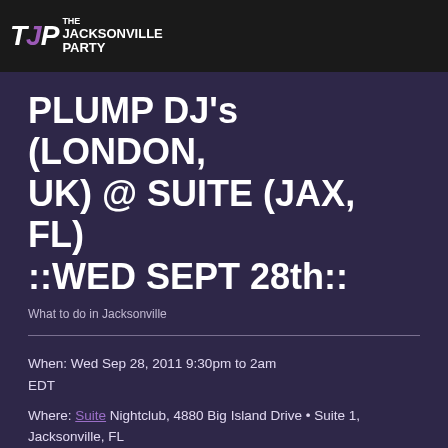The Jacksonville Party
PLUMP DJ's (LONDON, UK) @ SUITE (JAX, FL) ::WED SEPT 28th::
What to do in Jacksonville
When: Wed Sep 28, 2011 9:30pm to 2am
EDT
Where: Suite Nightclub, 4880 Big Island Drive • Suite 1, Jacksonville, FL
Event Status: confirmed
Event Description: DBI Productions & Redline Entertainment Presents